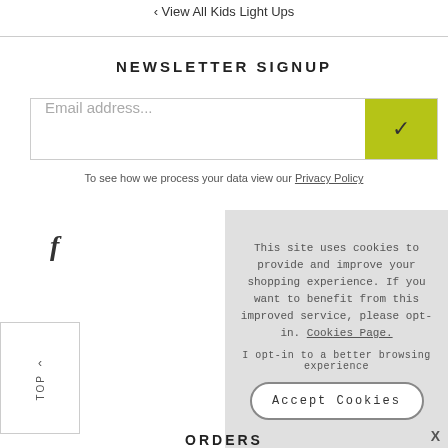‹ View All Kids Light Ups
NEWSLETTER SIGNUP
[Figure (screenshot): Email address input field with yellow-green checkmark submit button]
To see how we process your data view our Privacy Policy
[Figure (screenshot): Facebook icon (f)]
[Figure (screenshot): TOP back-to-top button with upward arrow]
[Figure (screenshot): Cookie consent overlay with close X button, cookie message with Cookies Page link, opt-in text, and Accept Cookies button]
ORDERS